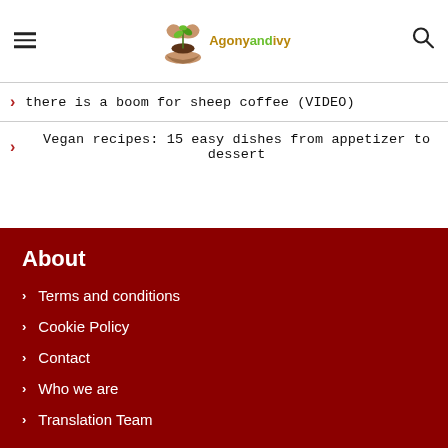Agonyandivy — navigation header with logo, hamburger menu, and search icon
there is a boom for sheep coffee (VIDEO)
Vegan recipes: 15 easy dishes from appetizer to dessert
About
Terms and conditions
Cookie Policy
Contact
Who we are
Translation Team